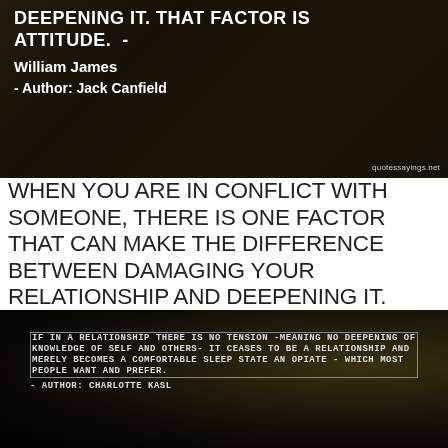[Figure (photo): Dark moody background photo with dried branches/twigs and a blue ceramic pot, with white bold text overlay showing a quote about attitude by William James and Jack Canfield. Watermark 'quotessayings.net' in bottom right.]
WHEN YOU ARE IN CONFLICT WITH SOMEONE, THERE IS ONE FACTOR THAT CAN MAKE THE DIFFERENCE BETWEEN DAMAGING YOUR RELATIONSHIP AND DEEPENING IT. THAT FACTOR IS ATTITUDE. - William James — Jack Canfield
[Figure (photo): Dark background photo of an eagle/bird with overlaid monospace uppercase text: 'IF IN A RELATIONSHIP THERE IS NO TENSION -MEANING NO DEEPENING OF KNOWLEDGE OF SELF AND OTHERS- IT CEASES TO BE A RELATIONSHIP AND MERELY BECOMES A COMFORTABLE SLEEP STATE AN OPIATE - WHICH MOST PEOPLE WANT AND PREFER. - AUTHOR: CHARLOTTE KASL']